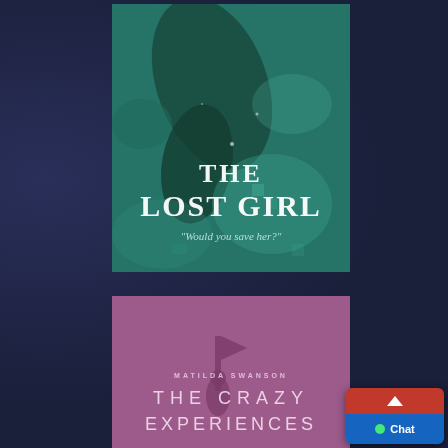[Figure (illustration): Book cover for 'The Lost Girl' — teal/dark green underwater scene with a silhouette figure, title text 'THE LOST GIRL' in white serif, subtitle 'Would you save her?' in italic cursive]
[Figure (illustration): Book cover for 'The Crazy Experiences' by Matilda Swanson — purple/mauve background with dark silhouette of a person and a flag, title in wide spaced sans-serif letters]
Chat